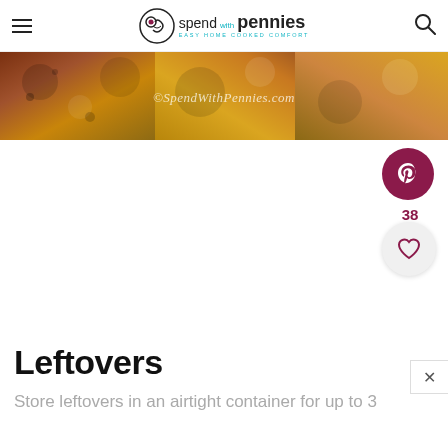spend with pennies – EASY HOME COOKED COMFORT
[Figure (photo): Close-up food photo with watermark ©SpendWithPennies.com overlaid in white text]
[Figure (other): Pinterest share button (dark red circular button with P icon)]
38
[Figure (other): Heart/save button (light gray circular button with heart outline icon)]
Leftovers
Store leftovers in an airtight container for up to 3